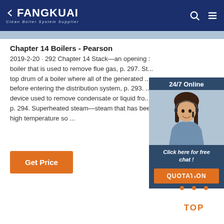FANGKUAI Clean Boiler System Supplier
Chapter 14 Boilers - Pearson
2019-2-20 · 292 Chapter 14 Stack—an opening ... boiler that is used to remove flue gas, p. 297. St... top drum of a boiler where all of the generated ... before entering the distribution system, p. 293. ... device used to remove condensate or liquid fro... p. 294. Superheated steam—steam that has bee... high temperature so ...
[Figure (photo): Customer service representative wearing headset, smiling, with 24/7 Online label and chat widget overlay]
Click here for free chat !
QUOTATION
Get Price
[Figure (illustration): Orange dotted triangle TOP button graphic at bottom right]